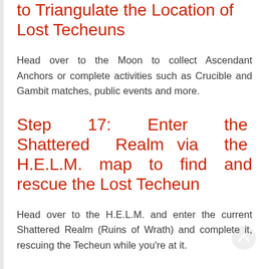to Triangulate the Location of Lost Techeuns
Head over to the Moon to collect Ascendant Anchors or complete activities such as Crucible and Gambit matches, public events and more.
Step 17: Enter the Shattered Realm via the H.E.L.M. map to find and rescue the Lost Techeun
Head over to the H.E.L.M. and enter the current Shattered Realm (Ruins of Wrath) and complete it, rescuing the Techeun while you're at it.
Step 18: Upgrade your compass with the Safe Passage Ability
Head back to the H.E.L.M. and upgrade your